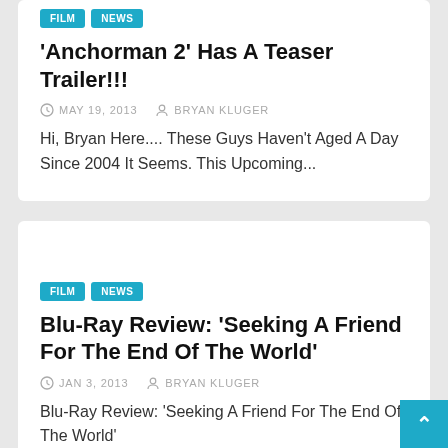FILM NEWS
'Anchorman 2' Has A Teaser Trailer!!!
MAY 19, 2013  BRYAN KLUGER
Hi, Bryan Here.... These Guys Haven't Aged A Day Since 2004 It Seems. This Upcoming...
FILM NEWS
Blu-Ray Review: 'Seeking A Friend For The End Of The World'
JAN 3, 2013  BRYAN KLUGER
Blu-Ray Review: 'Seeking A Friend For The End Of The World'